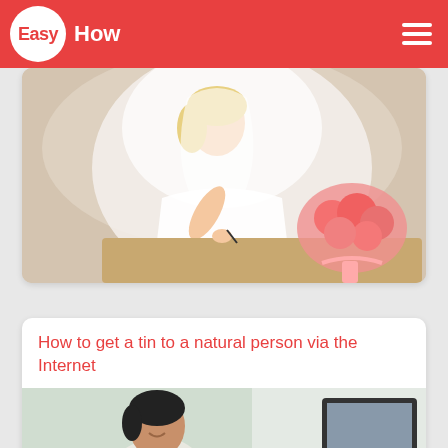EasyHow
[Figure (photo): Bride in white wedding dress and veil leaning over a table writing, with a bouquet of pink roses nearby]
How to get a tin to a natural person via the Internet
[Figure (photo): Young man in white t-shirt sitting at a desk looking at documents, with a computer monitor visible in the background]